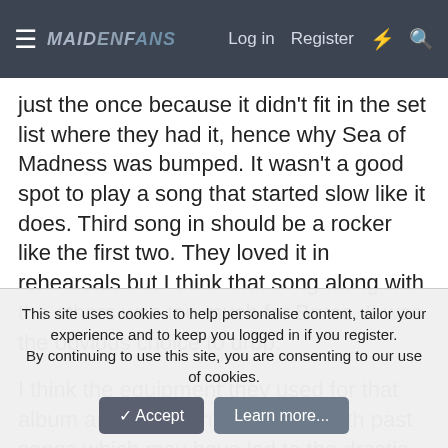MaidenFans [logo] Log in Register [icons]
just the once because it didn't fit in the set list where they had it, hence why Sea of Madness was bumped. It wasn't a good spot to play a song that started slow like it does. Third song in should be a rocker like the first two. They loved it in rehearsals but I think that song along with the others was too much for Bruce. It was the obvious choice to drop.
I think the equipment they used for that album and tour didn't work well with past songs which may have led to the drastic number of song changes. It was the first and only tour to not play the trooper one single show the whole tour....
For me, it was the first album from them and in metal I bought on cassette tape in 1997. I didn't know what I was buying but I'm glad I did. I loved art as a kid and the cover did it for me. Man it
This site uses cookies to help personalise content, tailor your experience and to keep you logged in if you register.
By continuing to use this site, you are consenting to our use of cookies.